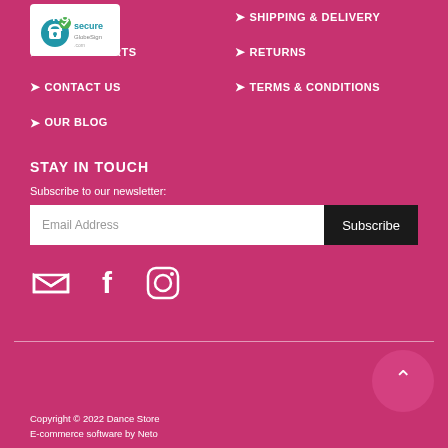PRODUCTS
SIZING CHARTS
CONTACT US
OUR BLOG
SHIPPING & DELIVERY
RETURNS
TERMS & CONDITIONS
STAY IN TOUCH
Subscribe to our newsletter:
[Figure (other): Social media icons: email/envelope, Facebook, Instagram]
[Figure (logo): Secure GlobeSign security badge with padlock icon]
Copyright © 2022 Dance Store
E-commerce software by Neto